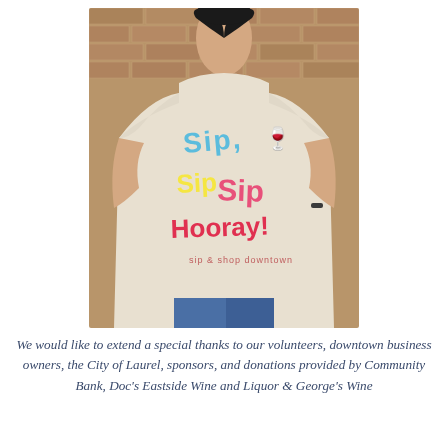[Figure (photo): A woman wearing a beige/cream t-shirt with colorful text reading 'Sip Sip Hooray' in blue, red, yellow, and pink bubble letters, standing against a brick wall background.]
We would like to extend a special thanks to our volunteers, downtown business owners, the City of Laurel, sponsors, and donations provided by Community Bank, Doc's Eastside Wine and Liquor & George's Wine